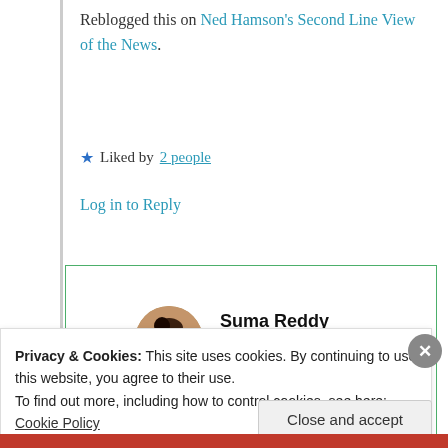Reblogged this on Ned Hamson's Second Line View of the News.
Liked by 2 people
Log in to Reply
Suma Reddy
7th Apr 2021 at 5:19 pm
Privacy & Cookies: This site uses cookies. By continuing to use this website, you agree to their use.
To find out more, including how to control cookies, see here: Cookie Policy
Close and accept